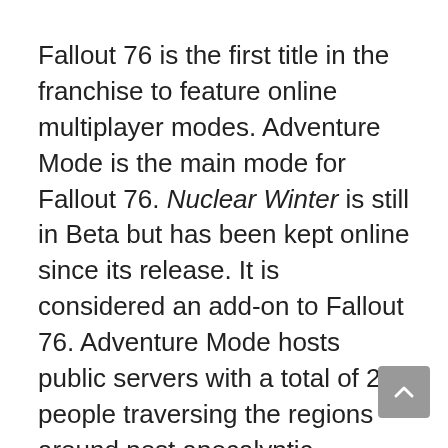Fallout 76 is the first title in the franchise to feature online multiplayer modes. Adventure Mode is the main mode for Fallout 76. Nuclear Winter is still in Beta but has been kept online since its release. It is considered an add-on to Fallout 76. Adventure Mode hosts public servers with a total of 24 people traversing the regions around post apocalyptic Appalachia. Nuclear Winter hosts lobby sizes in Vault 51 totaling a maximum of 52 or a minimum of at least 20 players. Private Worlds are private servers in Adventure Mode. A total of 8 players including the host can be in a Private World. The